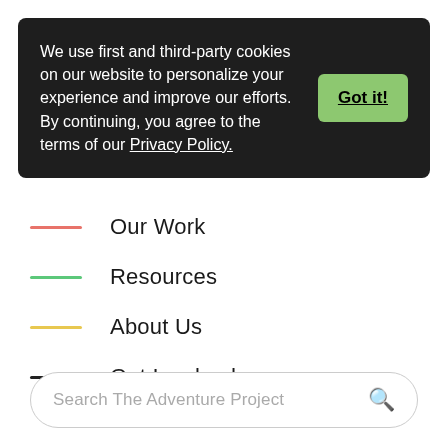We use first and third-party cookies on our website to personalize your experience and improve our efforts. By continuing, you agree to the terms of our Privacy Policy.
Got it!
Our Work
Resources
About Us
Get Involved
Search The Adventure Project